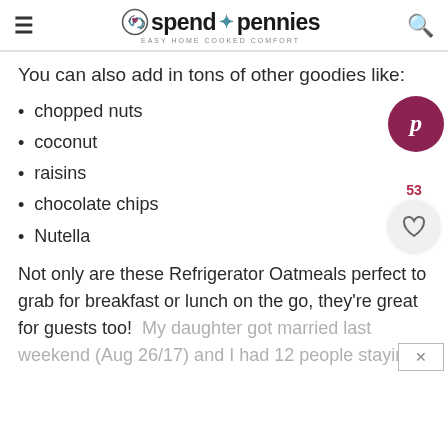spend with pennies — easy home cooked comfort
You can also add in tons of other goodies like:
chopped nuts
coconut
raisins
chocolate chips
Nutella
Not only are these Refrigerator Oatmeals perfect to grab for breakfast or lunch on the go, they're great for guests too!  My daughter got married last weekend (Aug 26/17) and I had 12 people staying